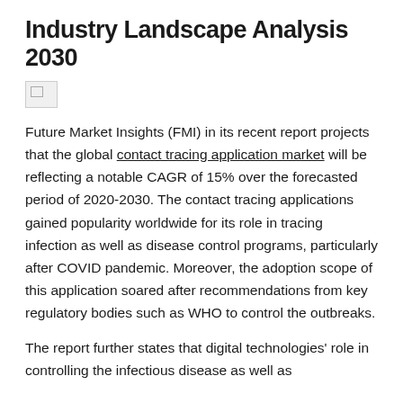Industry Landscape Analysis 2030
[Figure (other): Broken/missing image placeholder]
Future Market Insights (FMI) in its recent report projects that the global contact tracing application market will be reflecting a notable CAGR of 15% over the forecasted period of 2020-2030. The contact tracing applications gained popularity worldwide for its role in tracing infection as well as disease control programs, particularly after COVID pandemic. Moreover, the adoption scope of this application soared after recommendations from key regulatory bodies such as WHO to control the outbreaks.
The report further states that digital technologies' role in controlling the infectious disease as well as